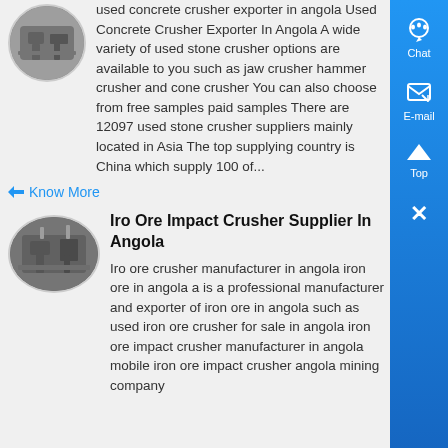[Figure (photo): Circular thumbnail photo of a concrete crusher or industrial facility in black and white]
used concrete crusher exporter in angola Used Concrete Crusher Exporter In Angola A wide variety of used stone crusher options are available to you such as jaw crusher hammer crusher and cone crusher You can also choose from free samples paid samples There are 12097 used stone crusher suppliers mainly located in Asia The top supplying country is China which supply 100 of...
Know More
Iro Ore Impact Crusher Supplier In Angola
[Figure (photo): Oval thumbnail photo of an industrial iron ore crusher or mining facility]
Iro ore crusher manufacturer in angola iron ore in angola a is a professional manufacturer and exporter of iron ore in angola such as used iron ore crusher for sale in angola iron ore impact crusher manufacturer in angola mobile iron ore impact crusher angola mining company